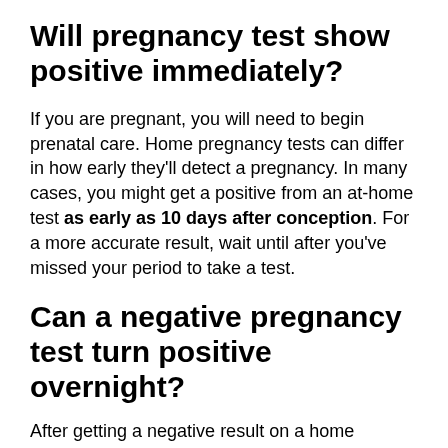Will pregnancy test show positive immediately?
If you are pregnant, you will need to begin prenatal care. Home pregnancy tests can differ in how early they'll detect a pregnancy. In many cases, you might get a positive from an at-home test as early as 10 days after conception. For a more accurate result, wait until after you've missed your period to take a test.
Can a negative pregnancy test turn positive overnight?
After getting a negative result on a home pregnancy test, it's fair to conclude that